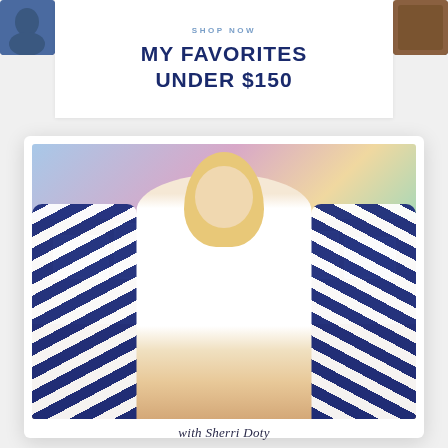SHOP NOW
MY FAVORITES
UNDER $150
[Figure (photo): Polaroid-style framed photo of a blonde woman in a white dress sitting in a navy blue and white zebra-print wingback chair, in a home office setting with artwork and family photos on a shelf behind her]
with Sherri Doty